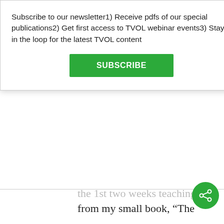Subscribe to our newsletter1) Receive pdfs of our special publications2) Get first access to TVOL webinar events3) Stay in the loop for the latest TVOL content
SUBSCRIBE
the 1st two weeks teaching from my small book, “The Evidence for Evolution”. I also teach an honors course, which covers both sides of the argument in historical perspective. Help yourself to the materials on